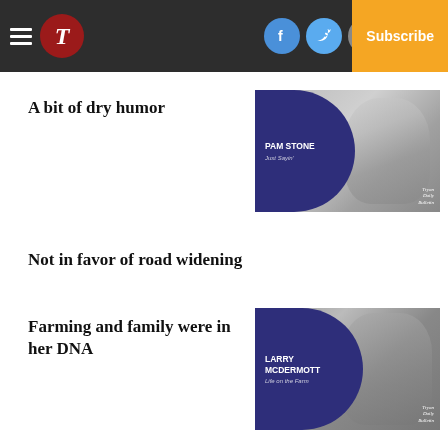Tryon Daily Bulletin — Navigation bar with hamburger menu, T logo, Facebook, Twitter, Email icons, Log In, Subscribe
A bit of dry humor
[Figure (photo): Pam Stone columnist card: blue semi-circle overlay on grayscale photo of blonde woman smiling, text reads PAM STONE / Just Sayin' / Tryon Daily Bulletin]
Not in favor of road widening
Farming and family were in her DNA
[Figure (photo): Larry McDermott columnist card: blue semi-circle overlay on grayscale photo of older man in cowboy hat, text reads LARRY MCDERMOTT / Life on the Farm / Tryon Daily Bulletin]